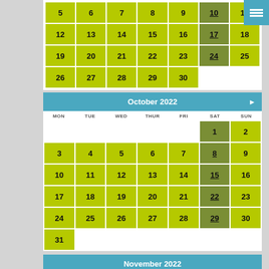| MON | TUE | WED | THUR | FRI | SAT | SUN |
| --- | --- | --- | --- | --- | --- | --- |
| 5 | 6 | 7 | 8 | 9 | 10 | 11 |
| 12 | 13 | 14 | 15 | 16 | 17 | 18 |
| 19 | 20 | 21 | 22 | 23 | 24 | 25 |
| 26 | 27 | 28 | 29 | 30 |  |  |
October 2022
| MON | TUE | WED | THUR | FRI | SAT | SUN |
| --- | --- | --- | --- | --- | --- | --- |
|  |  |  |  |  | 1 | 2 |
| 3 | 4 | 5 | 6 | 7 | 8 | 9 |
| 10 | 11 | 12 | 13 | 14 | 15 | 16 |
| 17 | 18 | 19 | 20 | 21 | 22 | 23 |
| 24 | 25 | 26 | 27 | 28 | 29 | 30 |
| 31 |  |  |  |  |  |  |
November 2022
| MON | TUE | WED | THUR | FRI | SAT | SUN |
| --- | --- | --- | --- | --- | --- | --- |
|  | 1 | 2 | 3 | 4 | 5 | 6 |
| 7 | 8 | 9 | 10 | 11 | 12 | 13 |